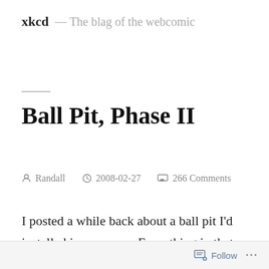xkcd — The blag of the webcomic
Ball Pit, Phase II
Randall   2008-02-27   266 Comments
I posted a while back about a ball pit I'd installed in my room. Everything in that post